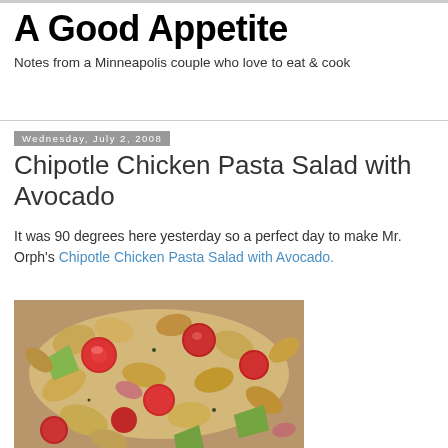A Good Appetite
Notes from a Minneapolis couple who love to eat & cook
Wednesday, July 2, 2008
Chipotle Chicken Pasta Salad with Avocado
It was 90 degrees here yesterday so a perfect day to make Mr. Orph's Chipotle Chicken Pasta Salad with Avocado.
[Figure (photo): Close-up photo of chipotle chicken pasta salad with avocado, showing spiral pasta, cherry tomatoes, and green avocado chunks in a creamy dressing.]